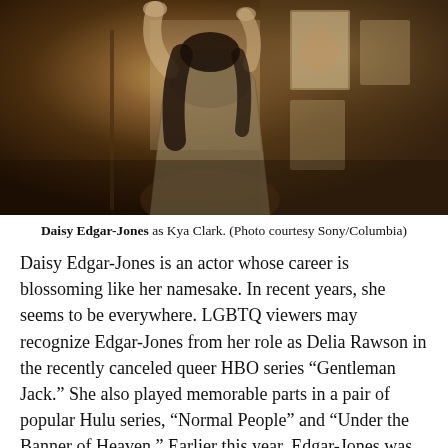[Figure (photo): Daisy Edgar-Jones as Kya Clark, seen from behind in a patterned dress, reaching up toward artwork/paintings in a dimly lit, warm-toned scene.]
Daisy Edgar-Jones as Kya Clark. (Photo courtesy Sony/Columbia)
Daisy Edgar-Jones is an actor whose career is blossoming like her namesake. In recent years, she seems to be everywhere. LGBTQ viewers may recognize Edgar-Jones from her role as Delia Rawson in the recently canceled queer HBO series “Gentleman Jack.” She also played memorable parts in a pair of popular Hulu series, “Normal People” and “Under the Banner of Heaven.” Earlier this year, Edgar-Jones was seen as Noa in the black comedy/horror flick “Fresh” alongside Sebastian Stan.